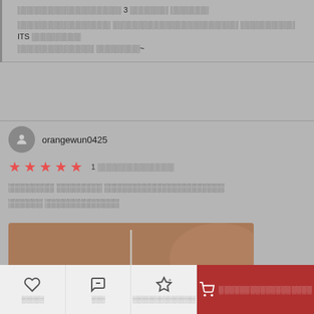░░░░░░░░░░░░░░░░░░░ 3 ░░░░░░░ ░░░░░░░
░░░░░░░░░░░░░░░░░ ░░░░░░░░░░░░░░░░░░░░░░░ ░░░░░░░░░░ ITS ░░░░░░░░░ ░░░░░░░░░░░░░░ ░░░░░░░░~
orangewun0425
1 ░░░░░░░░░░░░░░
░░░░░░░░ ░░░░░░░░ ░░░░░░░░░░░░░░░░░░░░░
░░░░░░ ░░░░░░░░░░░░░
[Figure (photo): Close-up photo of a silver bracelet with an oval gemstone charm worn on a wrist]
░░░░░ ░░░ ░░░░░░░░░░░░░░░
░░░░░░░░░░░░░░░░░░